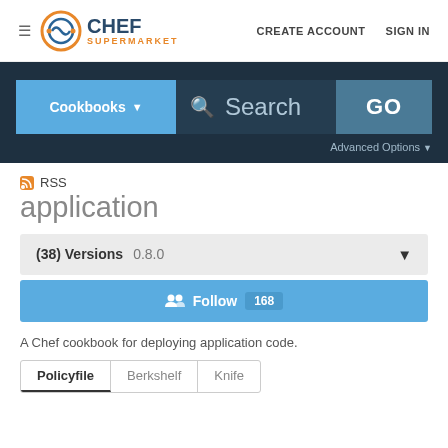≡  CHEF SUPERMARKET   CREATE ACCOUNT   SIGN IN
[Figure (screenshot): Chef Supermarket logo with orange circular icon and CHEF SUPERMARKET text]
Cookbooks ▾   🔍 Search   GO   Advanced Options ▾
RSS
application
(38) Versions   0.8.0   ▼
👥 Follow   168
A Chef cookbook for deploying application code.
Policyfile   Berkshelf   Knife